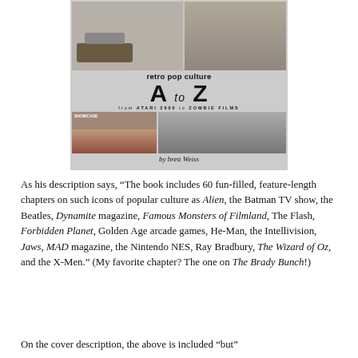[Figure (illustration): Book cover for 'retro pop culture A to Z from Atari 2600 to Zombie Films by brett Weiss'. Shows collage of retro pop culture images including an Atari console and group photos, with large A to Z lettering.]
As his description says, “The book includes 60 fun-filled, feature-length chapters on such icons of popular culture as Alien, the Batman TV show, the Beatles, Dynamite magazine, Famous Monsters of Filmland, The Flash, Forbidden Planet, Golden Age arcade games, He-Man, the Intellivision, Jaws, MAD magazine, the Nintendo NES, Ray Bradbury, The Wizard of Oz, and the X-Men.” (My favorite chapter? The one on The Brady Bunch!)
On the cover description, the above is included “but”